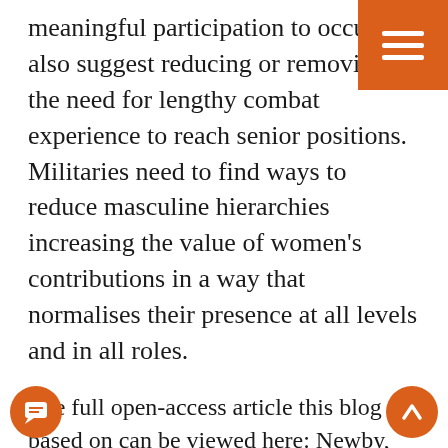[Figure (other): Orange square hamburger menu button in top-right corner with three white horizontal bars]
meaningful participation to occur, we also suggest reducing or removing the need for lengthy combat experience to reach senior positions. Militaries need to find ways to reduce masculine hierarchies increasing the value of women's contributions in a way that normalises their presence at all levels and in all roles.
The full open-access article this blog is based on can be viewed here: Newby, V., & Sebag, C. (2021). Gender sidestreaming? Analysing gender mainstreaming in national militaries and international peacekeeping. European Journal of International Security, 6 (2): 148-170. https://doi.org/10.1017/eis.2020.20
[Figure (other): Orange circle chat/message button in bottom-left corner]
[Figure (other): Orange circle scroll-to-top arrow button in bottom-right corner]